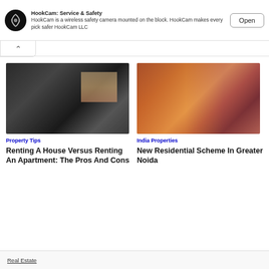[Figure (screenshot): HookCam advertisement banner with logo, description text, and Open button]
HookCam: Service & Safety
HookCam is a wireless safety camera mounted on the block. HookCam makes every pick safer HookCam LLC
[Figure (photo): Modern dark interior living room with city view through large windows]
Property Tips
Renting A House Versus Renting An Apartment: The Pros And Cons
[Figure (photo): Colorful mosque interior with ornate arched windows and stained glass]
India Properties
New Residential Scheme In Greater Noida
Real Estate